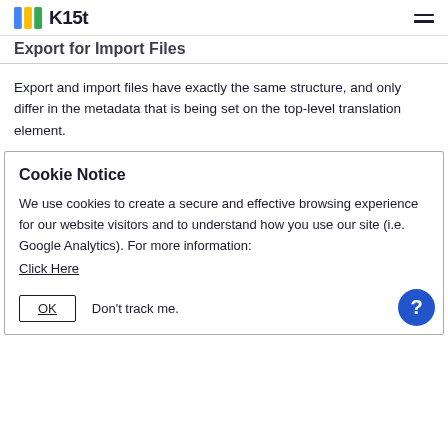// K15t [hamburger menu]
Export for Import Files
Export and import files have exactly the same structure, and only differ in the metadata that is being set on the top-level translation element.
Cookie Notice
We use cookies to create a secure and effective browsing experience for our website visitors and to understand how you use our site (i.e. Google Analytics). For more information:
Click Here
OK    Don't track me.